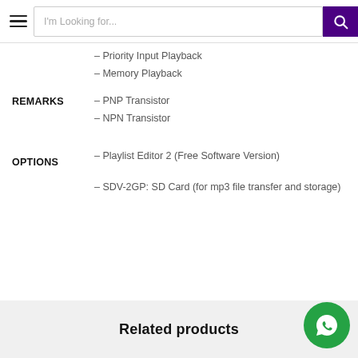I'm Looking for...
– Priority Input Playback
– Memory Playback
REMARKS
– PNP Transistor
– NPN Transistor
OPTIONS
– Playlist Editor 2 (Free Software Version)
– SDV-2GP: SD Card (for mp3 file transfer and storage)
Related products